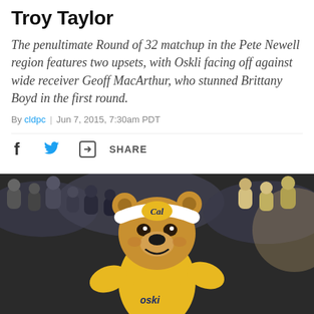Troy Taylor
The penultimate Round of 32 matchup in the Pete Newell region features two upsets, with Oskli facing off against wide receiver Geoff MacArthur, who stunned Brittany Boyd in the first round.
By cldpc | Jun 7, 2015, 7:30am PDT
[Figure (other): Share bar with Facebook icon, Twitter bird icon, and share/forward icon with SHARE text]
[Figure (photo): Cal Bears mascot Oski the bear in yellow jersey with Cal headband, performing in front of a crowd at a basketball game]